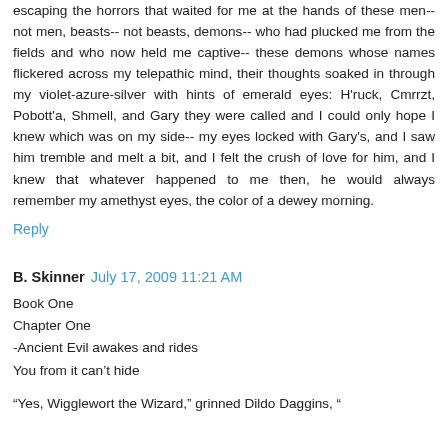escaping the horrors that waited for me at the hands of these men-- not men, beasts-- not beasts, demons-- who had plucked me from the fields and who now held me captive-- these demons whose names flickered across my telepathic mind, their thoughts soaked in through my violet-azure-silver with hints of emerald eyes: H'ruck, Cmrrzt, Pobott'a, Shmell, and Gary they were called and I could only hope I knew which was on my side-- my eyes locked with Gary's, and I saw him tremble and melt a bit, and I felt the crush of love for him, and I knew that whatever happened to me then, he would always remember my amethyst eyes, the color of a dewey morning.
Reply
B. Skinner  July 17, 2009 11:21 AM
Book One
Chapter One
-Ancient Evil awakes and rides
You from it can't hide
“Yes, Wigglewort the Wizard,” grinned Dildo Daggins, “...